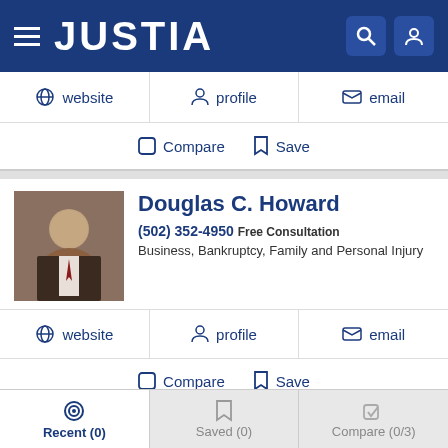JUSTIA
website   profile   email
Compare   Save
Douglas C. Howard
(502) 352-4950 Free Consultation
Business, Bankruptcy, Family and Personal Injury
website   profile   email
Compare   Save
Ivey L Workman
Recent (0)   Saved (0)   Compare (0/3)